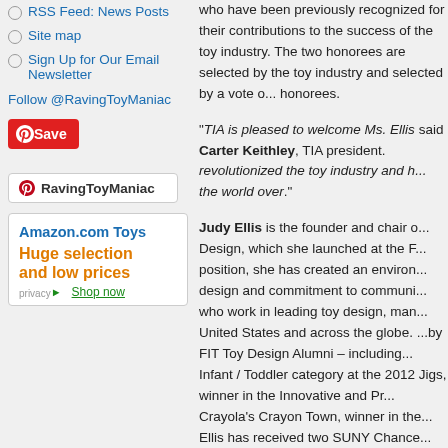RSS Feed: News Posts
Site map
Sign Up for Our Email Newsletter
Follow @RavingToyManiac
[Figure (other): Pinterest Save button (red button with Pinterest logo and 'Save' text)]
[Figure (other): RavingToyManiac Pinterest widget box]
[Figure (other): Amazon.com Toys advertisement - Huge selection and low prices - Shop now]
who have been previously recognized for their contributions to the success of the toy industry. The two honorees are selected by the toy industry and selected by a vote of industry peers to choose the honorees. "TIA is pleased to welcome Ms. Ellis... said Carter Keithley, TIA president. ...revolutionized the toy industry and h... the world over." Judy Ellis is the founder and chair o... Design, which she launched at the F... position, she has created an environ... design and commitment to communi... who work in leading toy design, man... United States and across the globe. ...by FIT Toy Design Alumni – including... Infant / Toddler category at the 2012... Jigs, winner in the Innovative and Pr... Crayola's Crayon Town, winner in the... Ellis has received two SUNY Chance... Distinguished Classroom Faculty, the... an award from the national Women i...